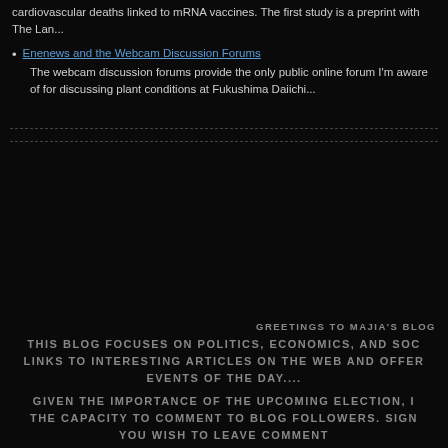cardiovascular deaths linked to mRNA vaccines. The first study is a preprint with The Lan...
Enenews and the Webcam Discussion Forums
The webcam discussion forums provide the only public online forum I'm aware of for discussing plant conditions at Fukushima Daiichi...
GREETINGS TO MAJIA'S BLOG
THIS BLOG FOCUSES ON POLITICS, ECONOMICS, AND SOC LINKS TO INTERESTING ARTICLES ON THE WEB AND OFFER EVENTS OF THE DAY....
GIVEN THE IMPORTANCE OF THE UPCOMING ELECTION, I THE CAPACITY TO COMMENT TO BLOG FOLLOWERS. SIGN YOU WISH TO LEAVE COMMENT